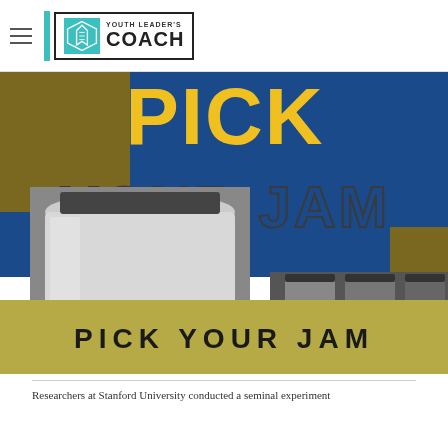Youth Leader's Coach
[Figure (illustration): Promotional banner image for 'Pick Your Jam' featuring large text overlay on blue and gold background with black-and-white photographs of jam jars. Top section shows large outlined text 'PICK YOUR JAM' in yellow/gold on blue. Bottom section shows a olive/yellow-gold band with 'PICK YOUR JAM' in bold black text, with grayscale photos of mason jars.]
Researchers at Stanford University conducted a seminal experiment